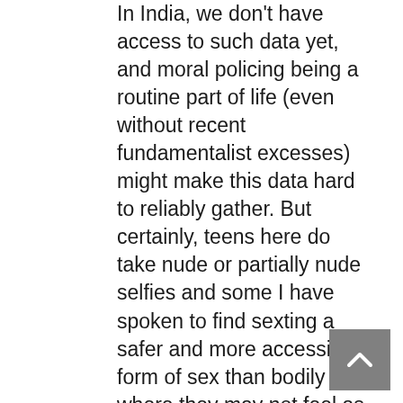In India, we don't have access to such data yet, and moral policing being a routine part of life (even without recent fundamentalist excesses) might make this data hard to reliably gather. But certainly, teens here do take nude or partially nude selfies and some I have spoken to find sexting a safer and more accessible form of sex than bodily sex where they may not feel as much sense of control or